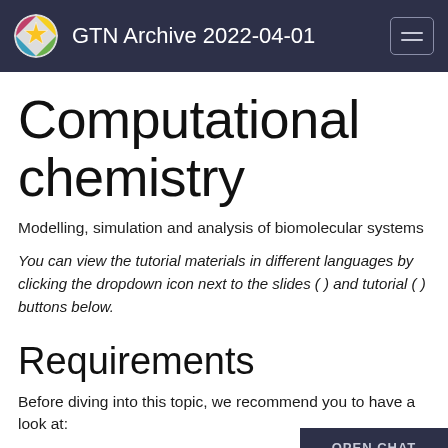GTN Archive 2022-04-01
Computational chemistry
Modelling, simulation and analysis of biomolecular systems
You can view the tutorial materials in different languages by clicking the dropdown icon next to the slides ( ) and tutorial ( ) buttons below.
Requirements
Before diving into this topic, we recommend you to have a look at: